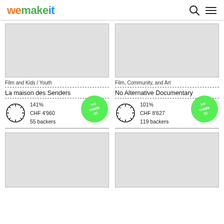wemakeit
[Figure (screenshot): wemakeit crowdfunding platform screenshot showing project cards]
Film and Kids / Youth
La maison des Senders
141%
CHF 4'960
55 backers
Film, Community, and Art
No Alternative Documentary
101%
CHF 8'627
119 backers